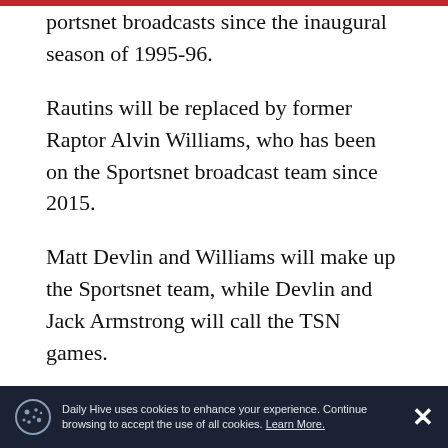...portsnet broadcasts since the inaugural season of 1995-96.
Rautins will be replaced by former Raptor Alvin Williams, who has been on the Sportsnet broadcast team since 2015.
Matt Devlin and Williams will make up the Sportsnet team, while Devlin and Jack Armstrong will call the TSN games.
“A beloved member of our team, we would like to sincerely thank Leo Rautins for 20+ years of tremendous passion, commitment & dedication to
Daily Hive uses cookies to enhance your experience. Continue browsing to accept the use of all cookies. Learn More.